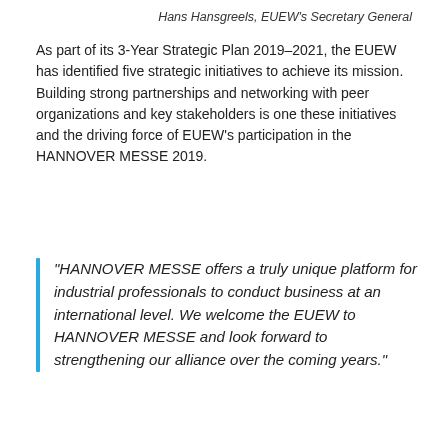Hans Hansgreels, EUEW's Secretary General
As part of its 3-Year Strategic Plan 2019–2021, the EUEW has identified five strategic initiatives to achieve its mission. Building strong partnerships and networking with peer organizations and key stakeholders is one these initiatives and the driving force of EUEW's participation in the HANNOVER MESSE 2019.
“HANNOVER MESSE offers a truly unique platform for industrial professionals to conduct business at an international level. We welcome the EUEW to HANNOVER MESSE and look forward to strengthening our alliance over the coming years.”